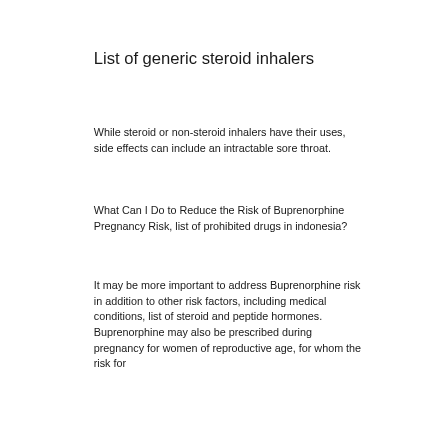List of generic steroid inhalers
While steroid or non-steroid inhalers have their uses, side effects can include an intractable sore throat.
What Can I Do to Reduce the Risk of Buprenorphine Pregnancy Risk, list of prohibited drugs in indonesia?
It may be more important to address Buprenorphine risk in addition to other risk factors, including medical conditions, list of steroid and peptide hormones. Buprenorphine may also be prescribed during pregnancy for women of reproductive age, for whom the risk for